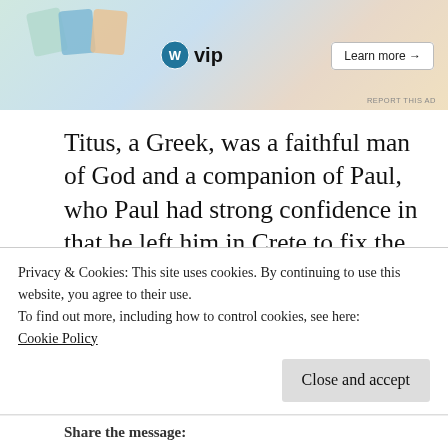[Figure (other): WordPress VIP advertisement banner with colorful card graphics, WordPress VIP logo, and a 'Learn more →' button. Small 'REPORT THIS AD' text at bottom right.]
Titus, a Greek, was a faithful man of God and a companion of Paul, who Paul had strong confidence in that he left him in Crete to fix the churches by finding the right spiritual leader, see Titus 1:5 and its commentary. In the other Pauline letters, we see the name Titus, however, I am not sure if it's referring to the same person as the author of Titus 1:1
Privacy & Cookies: This site uses cookies. By continuing to use this website, you agree to their use.
To find out more, including how to control cookies, see here:
Cookie Policy
Close and accept
Share the message: